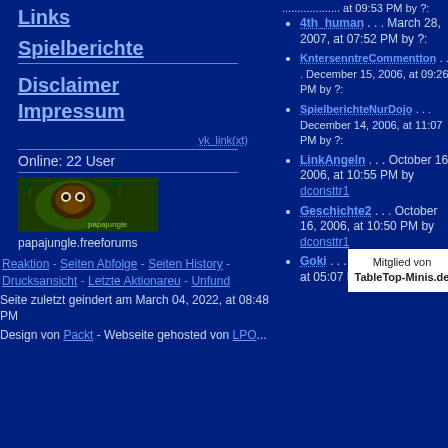Links
Spielberichte
Disclaimer
Impressum
vk_link(xt)
Online: 22 User
[Figure (photo): papajungle.freeforums banner/logo image with creature face on green background]
papajungle.freeforums
4th_human . . . March 28, 2007, at 07:52 PM by ?:
KntersenntreCommentton . . . December 15, 2006, at 09:26 PM by ?:
SpielberichteNurDojo . . . December 14, 2006, at 11:07 PM by ?:
LinkAngeln . . . October 16, 2006, at 10:55 PM by dconsttr1
Geschichte2 . . . October 16, 2006, at 10:50 PM by dconsttr1
Goki . . . October 16, 2006, at 05:07 PM by ?:
Reaktion - Seiten Abfolge - Seiten History - Drucksansicht - Letzte Aktionareu - Unfund
Seite zuletzt geindert am March 04, 2022, at 08:48 PM
Design von Packt - Webseite gehosted von LPO...